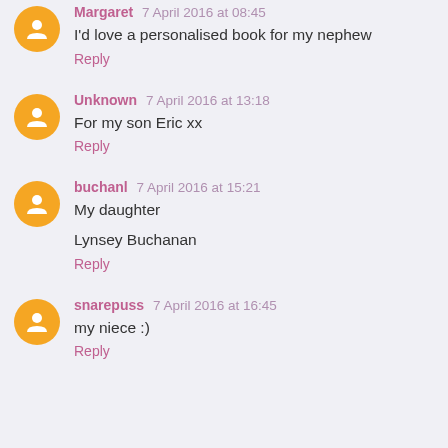Margaret 7 April 2016 at 08:45
I'd love a personalised book for my nephew
Reply
Unknown 7 April 2016 at 13:18
For my son Eric xx
Reply
buchanl 7 April 2016 at 15:21
My daughter

Lynsey Buchanan
Reply
snarepuss 7 April 2016 at 16:45
my niece :)
Reply